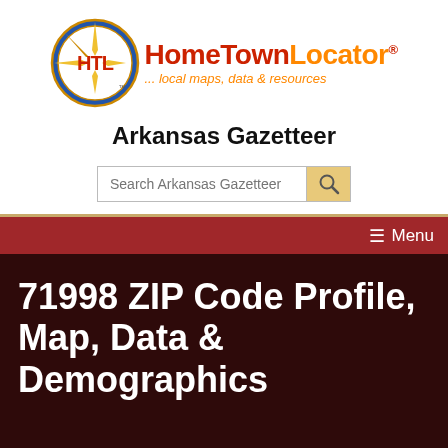[Figure (logo): HomeTownLocator logo with HTL compass rose circle and brand name text]
Arkansas Gazetteer
[Figure (screenshot): Search box with placeholder text 'Search Arkansas Gazetteer' and a magnifying glass search button]
☰ Menu
71998 ZIP Code Profile, Map, Data & Demographics